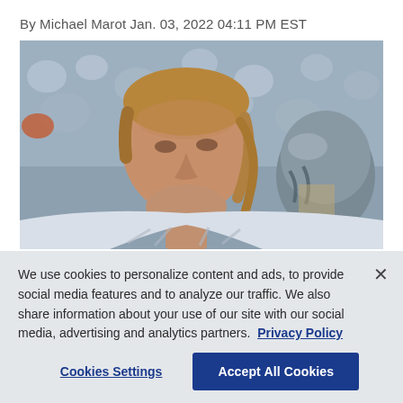By Michael Marot Jan. 03, 2022 04:11 PM EST
[Figure (photo): A man with blonde hair, appearing to be a football coach or official, photographed outdoors at a stadium with a blurred crowd in the background. A football player wearing a Raiders-style helmet is partially visible in the background.]
We use cookies to personalize content and ads, to provide social media features and to analyze our traffic. We also share information about your use of our site with our social media, advertising and analytics partners.  Privacy Policy
Cookies Settings   Accept All Cookies